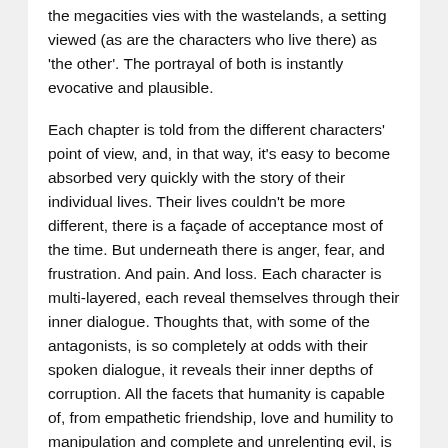the megacities vies with the wastelands, a setting viewed (as are the characters who live there) as 'the other'. The portrayal of both is instantly evocative and plausible.
Each chapter is told from the different characters' point of view, and, in that way, it's easy to become absorbed very quickly with the story of their individual lives. Their lives couldn't be more different, there is a façade of acceptance most of the time. But underneath there is anger, fear, and frustration. And pain. And loss. Each character is multi-layered, each reveal themselves through their inner dialogue. Thoughts that, with some of the antagonists, is so completely at odds with their spoken dialogue, it reveals their inner depths of corruption. All the facets that humanity is capable of, from empathetic friendship, love and humility to manipulation and complete and unrelenting evil, is shown in this story.
Terry Tyler's books are usually strongly character